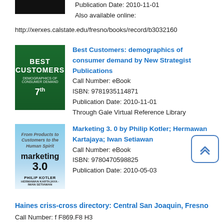Publication Date: 2010-11-01
Also available online:
http://xerxes.calstate.edu/fresno/books/record/b3032160
[Figure (photo): Book cover for Best Customers: demographics of consumer demand]
Best Customers: demographics of consumer demand by New Strategist Publications
Call Number: eBook
ISBN: 9781935114871
Publication Date: 2010-11-01
Through Gale Virtual Reference Library
[Figure (photo): Book cover for Marketing 3.0 by Philip Kotler; Hermawan Kartajaya; Iwan Setiawan]
Marketing 3. 0 by Philip Kotler; Hermawan Kartajaya; Iwan Setiawan
Call Number: eBook
ISBN: 9780470598825
Publication Date: 2010-05-03
Haines criss-cross directory: Central San Joaquin, Fresno
Call Number: f F869.F8 H3
Publication Date: 1974 - 2014